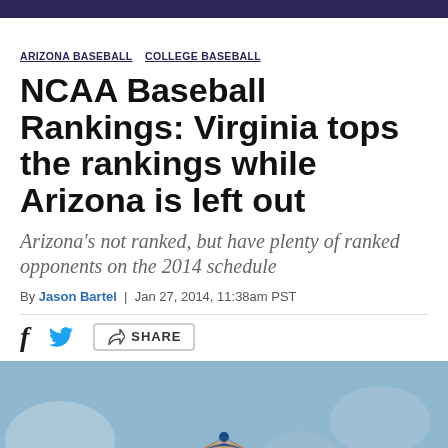ARIZONA BASEBALL  COLLEGE BASEBALL
NCAA Baseball Rankings: Virginia tops the rankings while Arizona is left out
Arizona's not ranked, but have plenty of ranked opponents on the 2014 schedule
By Jason Bartel | Jan 27, 2014, 11:38am PST
[Figure (other): Social sharing row with Facebook, Twitter, and Share button icons]
[Figure (photo): Photo of an Arizona Wildcats baseball player wearing a blue cap with the letter A logo]